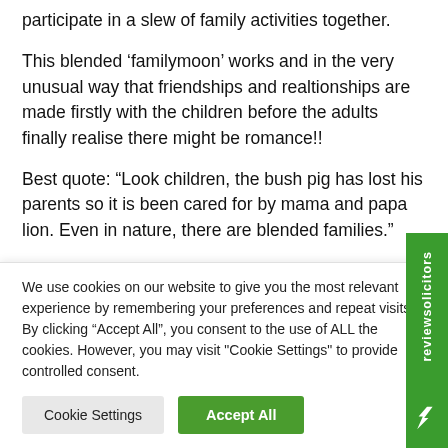participate in a slew of family activities together.
This blended ‘familymoon’ works and in the very unusual way that friendships and realtionships are made firstly with the children before the adults finally realise there might be romance!!
Best quote: “Look children, the bush pig has lost his parents so it is been cared for by mama and papa lion. Even in nature, there are blended families.”
We use cookies on our website to give you the most relevant experience by remembering your preferences and repeat visits. By clicking “Accept All”, you consent to the use of ALL the cookies. However, you may visit "Cookie Settings" to provide controlled consent.
Cookie Settings | Accept All